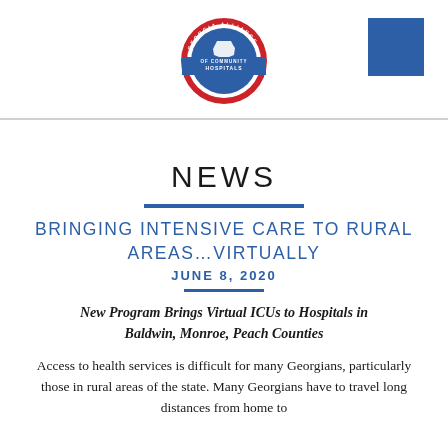[Figure (logo): Georgia Alliance of Community Hospitals circular logo with red outer ring, blue banner, and white Georgia state silhouette in center]
NEWS
BRINGING INTENSIVE CARE TO RURAL AREAS…VIRTUALLY
JUNE 8, 2020
New Program Brings Virtual ICUs to Hospitals in Baldwin, Monroe, Peach Counties
Access to health services is difficult for many Georgians, particularly those in rural areas of the state. Many Georgians have to travel long distances from home to